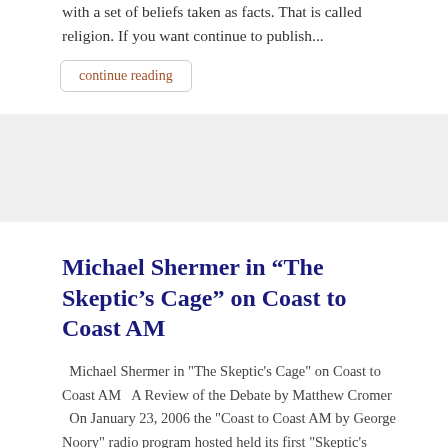with a set of beliefs taken as facts. That is called religion. If you want continue to publish...
continue reading
Michael Shermer in “The Skeptic’s Cage” on Coast to Coast AM
Michael Shermer in "The Skeptic's Cage" on Coast to Coast AM   A Review of the Debate by Matthew Cromer   On January 23, 2006 the "Coast to Coast AM by George Noory" radio program hosted held its first "Skeptic's Cage" debate between skeptic Dr. Michael Shermer and three scientists engaged in psi research....
continue reading